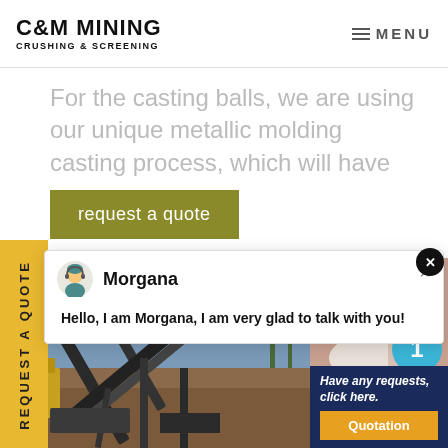C&M MINING CRUSHING & SCREENING
For the casting balls, we are using our unique metallic molding casting process, which will have
request a quote
REQUEST A QUOTE
Morgana
Hello, I am Morgana, I am very glad to talk with you!
[Figure (photo): Mining crushing and screening equipment at a construction/mining site with conveyor belts and machinery against a cloudy sky]
[Figure (photo): Customer service agent with headset smiling, with notification badge showing number 1]
Have any requests, click here.
Quotation